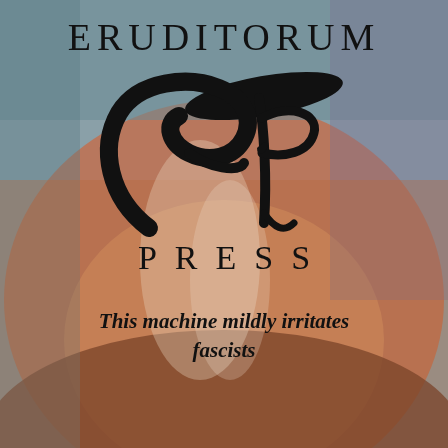[Figure (logo): Background image of people with warm reddish-orange and muted teal tones, overlaid with a semi-transparent color wash. Eruditorum Press logo comprising the text ERUDITORUM at top, a stylized cursive 'EP' monogram in the center, and the word PRESS below, all in black on the background.]
ERUDITORUM
[Figure (logo): Stylized cursive 'EP' monogram logo in black with flowing calligraphic strokes and an elongated oval swoosh above.]
PRESS
This machine mildly irritates fascists